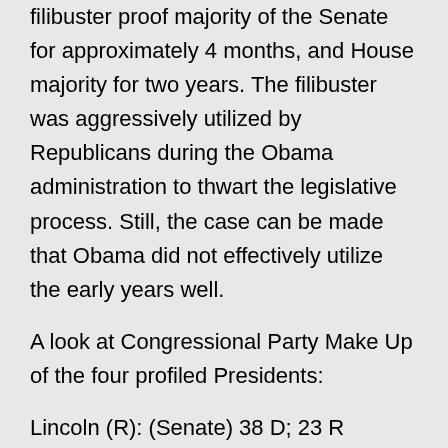filibuster proof majority of the Senate for approximately 4 months, and House majority for two years. The filibuster was aggressively utilized by Republicans during the Obama administration to thwart the legislative process. Still, the case can be made that Obama did not effectively utilize the early years well.
A look at Congressional Party Make Up of the four profiled Presidents:
Lincoln (R): (Senate) 38 D; 23 R (House) 84 D; 113 R (partial lst term)
Hoover(R) : (Senate) 47 D; 48 R (House) 204 D; 224 R (one term/initial composition)
FDR (D) : (Senate) 59 D; 36R (House) 311 D; 117 R (Partial 1st term/initial composition)